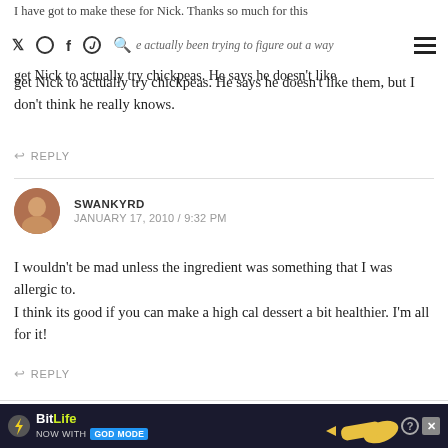I have got to make these for Nick. Thanks so much for this recipe. I have actually been trying to figure out a way
get Nick to actually try chickpeas. He says he doesn't like them, but I don't think he really knows.
↩ REPLY
SWANKYRD
JANUARY 17, 2010 / 9:32 PM
I wouldn't be mad unless the ingredient was something that I was allergic to.
I think its good if you can make a high cal dessert a bit healthier. I'm all for it!
↩ REPLY
[Figure (screenshot): BitLife advertisement banner: 'BitLife NOW WITH GOD MODE' with lightning bolt and hand pointing graphic, close and help buttons]